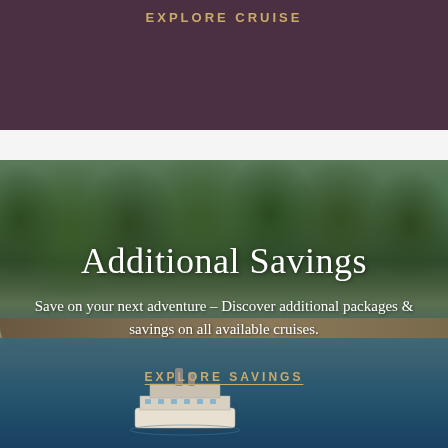EXPLORE CRUISE
[Figure (photo): Aerial view of a forested shoreline with a river or lake, with a paddle steamer/ferry boat visible in the lower portion of the image. Dense green and autumn-colored trees cover a peninsula, with blue-green water surrounding it.]
Additional Savings
Save on your next adventure – Discover additional packages & savings on all available cruises.
EXPLORE SAVINGS